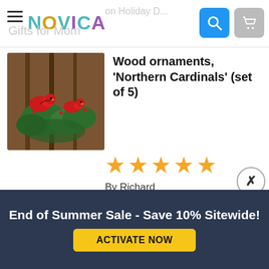NOVICA — Better on Holiday Deals | Gifts for Mom
[Figure (photo): Product photo of wood cardinal ornaments with red birds and green foliage arranged on dark wood]
Wood ornaments, 'Northern Cardinals' (set of 5)
[Figure (other): 5-star rating display with gold stars]
By Richard
Love these Cardinals
I bought 3 sets of these for 3 friends! They loved them. Thank you so much. They are absolutely beautiful!
End of Summer Sale - Save 10% Sitewide!
ACTIVATE NOW